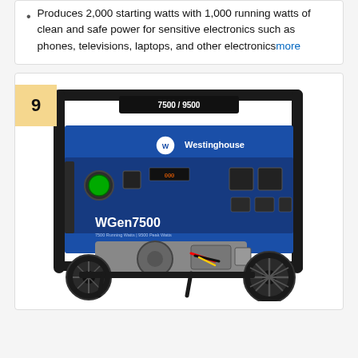Produces 2,000 starting watts with 1,000 running watts of clean and safe power for sensitive electronics such as phones, televisions, laptops, and other electronics more
[Figure (photo): Westinghouse WGen7500 portable generator with blue and black body, 7500/9500 watt label, control panel with outlets and gauges, large wheels, and engine components visible.]